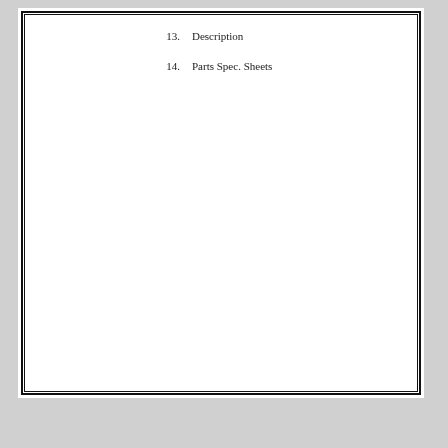13.    Description
14.    Parts Spec. Sheets